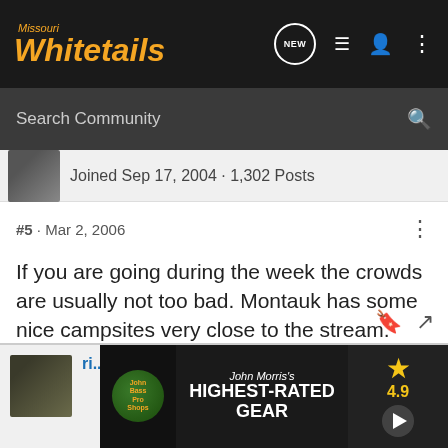Missouri Whitetails
Search Community
Joined Sep 17, 2004 · 1,302 Posts
#5 · Mar 2, 2006
If you are going during the week the crowds are usually not too bad. Montauk has some nice campsites very close to the stream.
[Figure (screenshot): Bass Pro Shops advertisement overlay: HIGHEST-RATED GEAR with 4.9 star rating and play button]
Bass Pro Shops Highest-Rated Gear 4.9